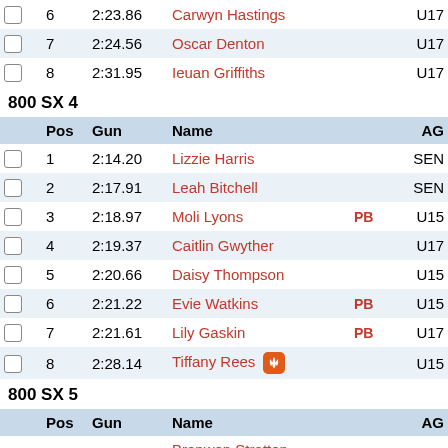|  | Pos | Gun | Name | PB | AG |
| --- | --- | --- | --- | --- | --- |
|  | 6 | 2:23.86 | Carwyn Hastings |  | U17 |
|  | 7 | 2:24.56 | Oscar Denton |  | U17 |
|  | 8 | 2:31.95 | Ieuan Griffiths |  | U17 |
800 SX 4
|  | Pos | Gun | Name | PB | AG |
| --- | --- | --- | --- | --- | --- |
|  | 1 | 2:14.20 | Lizzie Harris |  | SEN |
|  | 2 | 2:17.91 | Leah Bitchell |  | SEN |
|  | 3 | 2:18.97 | Moli Lyons | PB | U15 |
|  | 4 | 2:19.37 | Caitlin Gwyther |  | U17 |
|  | 5 | 2:20.66 | Daisy Thompson |  | U15 |
|  | 6 | 2:21.22 | Evie Watkins | PB | U15 |
|  | 7 | 2:21.61 | Lily Gaskin | PB | U17 |
|  | 8 | 2:28.14 | Tiffany Rees 🔥 |  | U15 |
800 SX 5
|  | Pos | Gun | Name | PB | AG |
| --- | --- | --- | --- | --- | --- |
|  | 1 | 2:24.05 | Bronwen Stratton-Thomas | PB | U17 |
|  | 2 | 2:28.56 | Evie Cook |  | U20 |
|  | 3 | 2:29.52 | Jemima Robinson |  | U15 |
|  | 4 | 2:29.97 | Cai Prenderville | PB | U13 |
|  | 5 | 2:30.30 | Eden Williams |  | U15 |